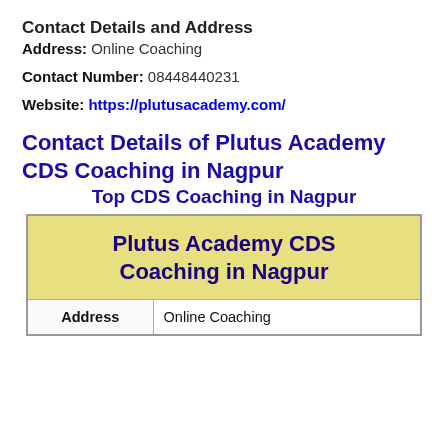Contact Details and Address
Address: Online Coaching
Contact Number: 08448440231
Website: https://plutusacademy.com/
Contact Details of Plutus Academy CDS Coaching in Nagpur
Top CDS Coaching in Nagpur
| Plutus Academy CDS Coaching in Nagpur |  |
| --- | --- |
| Address | Online Coaching |